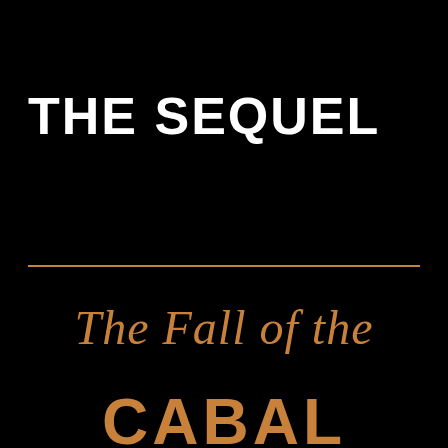THE SEQUEL
The Fall of the
CABAL